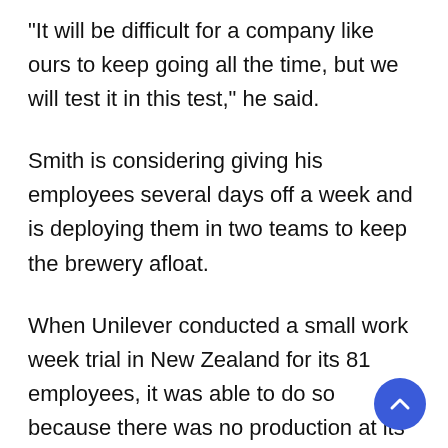“It will be difficult for a company like ours to keep going all the time, but we will test it in this test,” he said.
Smith is considering giving his employees several days off a week and is deploying them in two teams to keep the brewery afloat.
When Unilever conducted a small work week trial in New Zealand for its 81 employees, it was able to do so because there was no production at its Auckland office and all employees worked on sales or marketing.